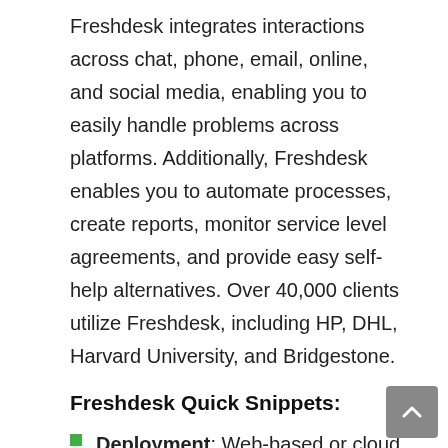Freshdesk integrates interactions across chat, phone, email, online, and social media, enabling you to easily handle problems across platforms. Additionally, Freshdesk enables you to automate processes, create reports, monitor service level agreements, and provide easy self-help alternatives. Over 40,000 clients utilize Freshdesk, including HP, DHL, Harvard University, and Bridgestone.
Freshdesk Quick Snippets:
Deployment: Web-based or cloud SaaS.
Mobile support: Android & iOS.
Support system: Chat, 24×7 live rep,